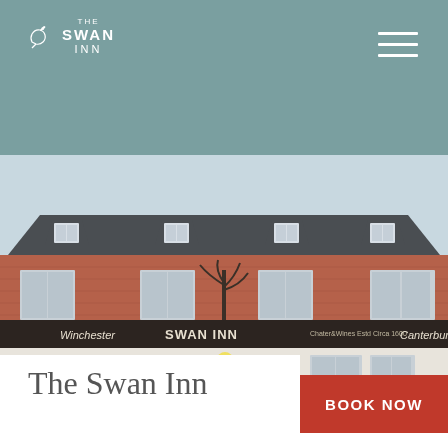The Swan Inn — navigation header with logo and hamburger menu
[Figure (photo): Exterior photograph of The Swan Inn, a historic red-brick English pub with dormer windows, dark slate roof, and signage reading 'Winchester SWAN INN Canterbury' and 'Estd Circa 1600'. White rendered ground floor with windows and iron railings.]
The Swan Inn
BOOK NOW